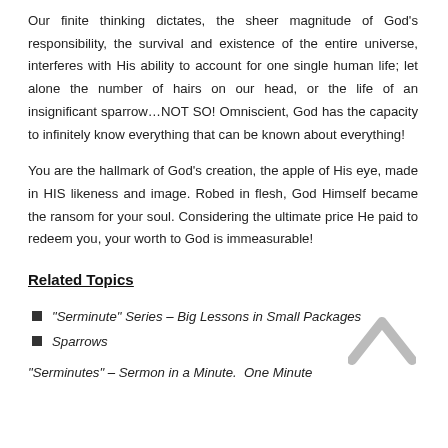Our finite thinking dictates, the sheer magnitude of God’s responsibility, the survival and existence of the entire universe, interferes with His ability to account for one single human life; let alone the number of hairs on our head, or the life of an insignificant sparrow…NOT SO! Omniscient, God has the capacity to infinitely know everything that can be known about everything!
You are the hallmark of God’s creation, the apple of His eye, made in HIS likeness and image. Robed in flesh, God Himself became the ransom for your soul. Considering the ultimate price He paid to redeem you, your worth to God is immeasurable!
Related Topics
“Serminute” Series – Big Lessons in Small Packages
Sparrows
“Serminutes” – Sermon in a Minute.  One Minute